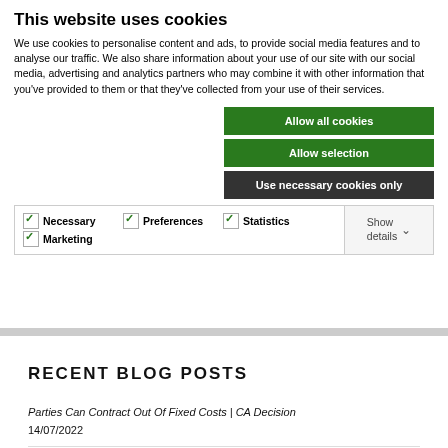This website uses cookies
We use cookies to personalise content and ads, to provide social media features and to analyse our traffic. We also share information about your use of our site with our social media, advertising and analytics partners who may combine it with other information that you’ve provided to them or that they’ve collected from your use of their services.
Allow all cookies
Allow selection
Use necessary cookies only
| Necessary | Preferences | Statistics | Marketing | Show details |
| --- | --- | --- | --- | --- |
RECENT BLOG POSTS
Parties Can Contract Out Of Fixed Costs | CA Decision
14/07/2022
Partial Success, Conduct, Offers And Alleged Exaggeration